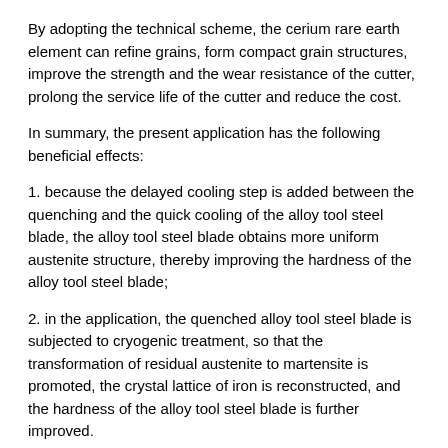By adopting the technical scheme, the cerium rare earth element can refine grains, form compact grain structures, improve the strength and the wear resistance of the cutter, prolong the service life of the cutter and reduce the cost.
In summary, the present application has the following beneficial effects:
1. because the delayed cooling step is added between the quenching and the quick cooling of the alloy tool steel blade, the alloy tool steel blade obtains more uniform austenite structure, thereby improving the hardness of the alloy tool steel blade;
2. in the application, the quenched alloy tool steel blade is subjected to cryogenic treatment, so that the transformation of residual austenite to martensite is promoted, the crystal lattice of iron is reconstructed, and the hardness of the alloy tool steel blade is further improved.
3. Magnesium and rare earth elements are added into the alloy tool steel, so that the distribution uniformity of carbides in the alloy tool steel is improved, and the overall